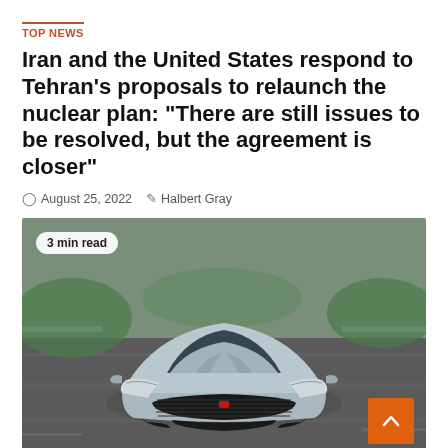TOP NEWS
Iran and the United States respond to Tehran's proposals to relaunch the nuclear plan: “There are still issues to be resolved, but the agreement is closer”
August 25, 2022   Halbert Gray
[Figure (photo): Front-facing view of a silver sedan (appears to be an Iranian-made car) driving on a highway at speed, with motion blur visible on the road and surroundings. Badge reads '3 min read' in a pill overlay at top left. An orange scroll-to-top button is visible at bottom right.]